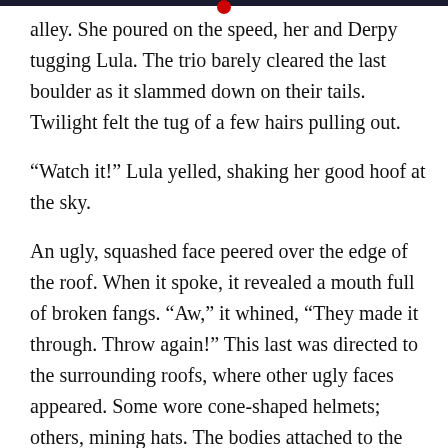alley. She poured on the speed, her and Derpy tugging Lula. The trio barely cleared the last boulder as it slammed down on their tails. Twilight felt the tug of a few hairs pulling out.
“Watch it!” Lula yelled, shaking her good hoof at the sky.
An ugly, squashed face peered over the edge of the roof. When it spoke, it revealed a mouth full of broken fangs. “Aw,” it whined, “They made it through. Throw again!” This last was directed to the surrounding roofs, where other ugly faces appeared. Some wore cone-shaped helmets; others, mining hats. The bodies attached to the faces were just as large and ugly. They wore mismatched clothing with pockets that overflowed